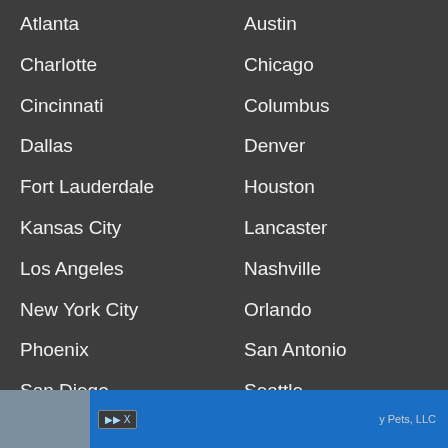Atlanta
Austin
Charlotte
Chicago
Cincinnati
Columbus
Dallas
Denver
Fort Lauderdale
Houston
Kansas City
Lancaster
Los Angeles
Nashville
New York City
Orlando
Phoenix
San Antonio
San Diego
Seattle
Springfield
Saint Louis
Tampa
Tulsa